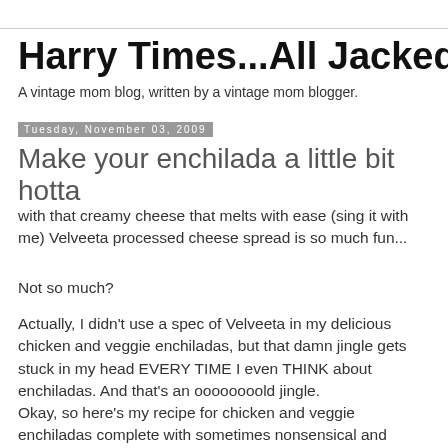Harry Times...All Jacked Up
A vintage mom blog, written by a vintage mom blogger.
Tuesday, November 03, 2009
Make your enchilada a little bit hotta
with that creamy cheese that melts with ease (sing it with me) Velveeta processed cheese spread is so much fun...
Not so much?
Actually, I didn't use a spec of Velveeta in my delicious chicken and veggie enchiladas, but that damn jingle gets stuck in my head EVERY TIME I even THINK about enchiladas. And that's an oooooooold jingle.
Okay, so here’s my recipe for chicken and veggie enchiladas complete with sometimes nonsensical and totally shitty